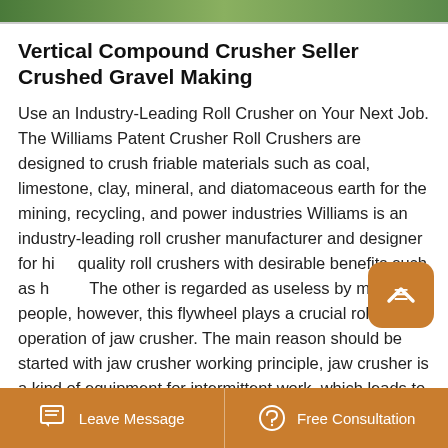[Figure (photo): Top strip showing a partial image of green/nature background, cropped]
Vertical Compound Crusher Seller Crushed Gravel Making
Use an Industry-Leading Roll Crusher on Your Next Job. The Williams Patent Crusher Roll Crushers are designed to crush friable materials such as coal, limestone, clay, mineral, and diatomaceous earth for the mining, recycling, and power industries Williams is an industry-leading roll crusher manufacturer and designer for high quality roll crushers with desirable benefits such as h... The other is regarded as useless by many people, however, this flywheel plays a crucial role in the operation of jaw crusher. The main reason should be started with jaw crusher working principle, jaw crusher is a kind of equipment for intermittent work, which leads to the resistance changing on eccentric shaft, the uneven motor
Leave Message   Free Consultation